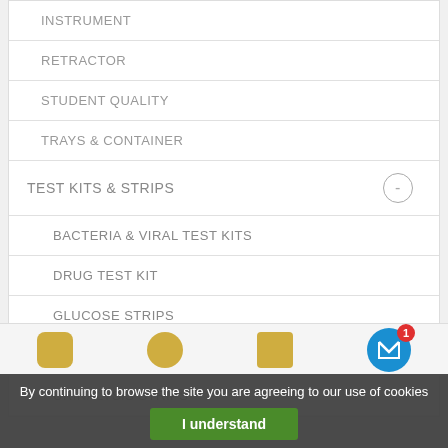INSTRUMENT
RETRACTOR
STUDENT QUALITY
TRAYS & CONTAINER
TEST KITS & STRIPS
BACTERIA & VIRAL TEST KITS
DRUG TEST KIT
GLUCOSE STRIPS
OTHERS
By continuing to browse the site you are agreeing to our use of cookies
I understand